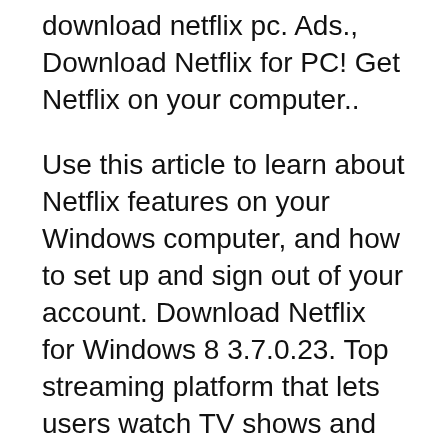download netflix pc. Ads., Download Netflix for PC! Get Netflix on your computer..
Use this article to learn about Netflix features on your Windows computer, and how to set up and sign out of your account. Download Netflix for Windows 8 3.7.0.23. Top streaming platform that lets users watch TV shows and movies on their Windows computer.
netflix free download - Netflix, Netflix, Netflix, and many more programs. View all Windows apps. Popular Android Apps TubeMate 3. TubeMate. Netflix app for Windows 10. Netflix app for Windows 10